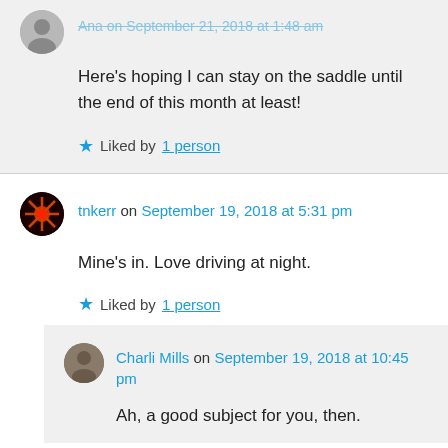Here's hoping I can stay on the saddle until the end of this month at least!
Liked by 1 person
tnkerr on September 19, 2018 at 5:31 pm
Mine's in. Love driving at night.
Liked by 1 person
Charli Mills on September 19, 2018 at 10:45 pm
Ah, a good subject for you, then.